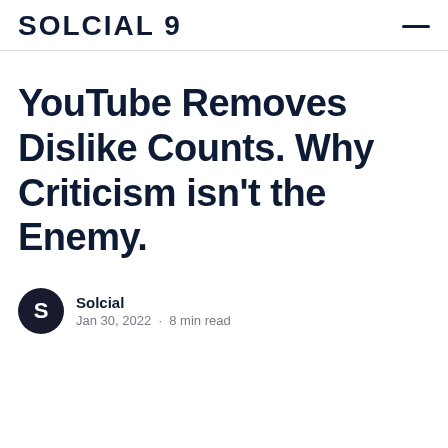SOLCIAL 9
YouTube Removes Dislike Counts. Why Criticism isn't the Enemy.
Solcial
Jan 30, 2022 · 8 min read